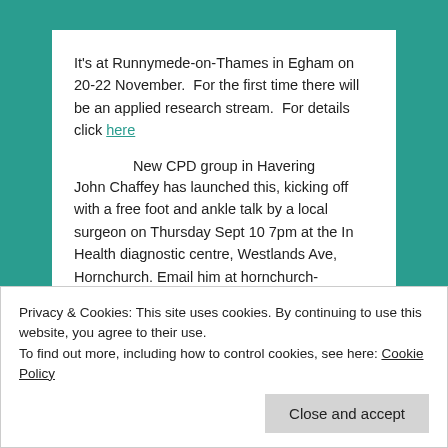It's at Runnymede-on-Thames in Egham on 20-22 November.  For the first time there will be an applied research stream.  For details click here
New CPD group in Havering
John Chaffey has launched this, kicking off with a free foot and ankle talk by a local surgeon on Thursday Sept 10 7pm at the In Health diagnostic centre, Westlands Ave, Hornchurch. Email him at hornchurch-cpd@bodybalance.co.uk
Been an osteopath for 15 years?  Want 8 hours free CPD?  Want to help research?
Privacy & Cookies: This site uses cookies. By continuing to use this website, you agree to their use.
To find out more, including how to control cookies, see here: Cookie Policy